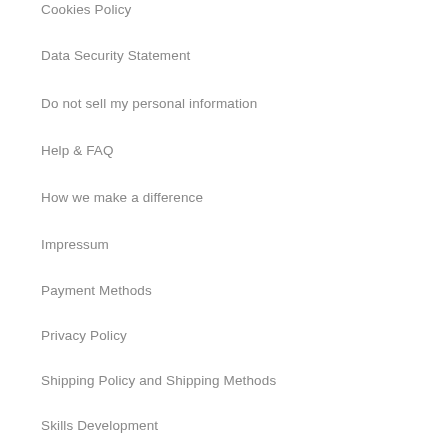Cookies Policy
Data Security Statement
Do not sell my personal information
Help & FAQ
How we make a difference
Impressum
Payment Methods
Privacy Policy
Shipping Policy and Shipping Methods
Skills Development